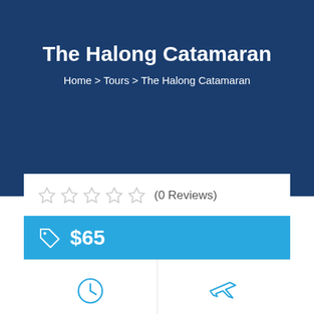The Halong Catamaran
Home > Tours > The Halong Catamaran
(0 Reviews)
$65
1 DAYS
BEO PIER